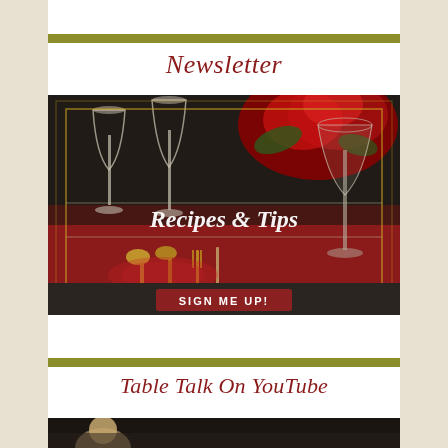Newsletter
[Figure (photo): Holiday dining table scene with red flowers, crystal wine glasses, and gold cutlery on a red tablecloth. Overlay text reads 'Recipes & Tips' in white italic serif font over a bordered rectangle. Below the photo is a dark background bar with a red 'SIGN ME UP!' button.]
Table Talk On YouTube
[Figure (photo): Partial thumbnail of a YouTube video showing a person, partially visible at bottom of page.]